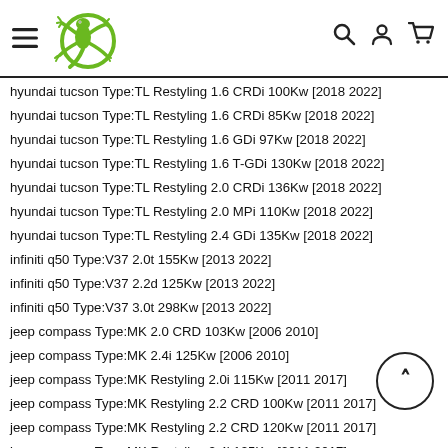[Figure (logo): Green gecko/lizard logo inside a green circle, with hamburger menu icon on left and search, user, cart icons on right]
hyundai tucson Type:TL Restyling 1.6 CRDi 100Kw [2018 2022]
hyundai tucson Type:TL Restyling 1.6 CRDi 85Kw [2018 2022]
hyundai tucson Type:TL Restyling 1.6 GDi 97Kw [2018 2022]
hyundai tucson Type:TL Restyling 1.6 T-GDi 130Kw [2018 2022]
hyundai tucson Type:TL Restyling 2.0 CRDi 136Kw [2018 2022]
hyundai tucson Type:TL Restyling 2.0 MPi 110Kw [2018 2022]
hyundai tucson Type:TL Restyling 2.4 GDi 135Kw [2018 2022]
infiniti q50 Type:V37 2.0t 155Kw [2013 2022]
infiniti q50 Type:V37 2.2d 125Kw [2013 2022]
infiniti q50 Type:V37 3.0t 298Kw [2013 2022]
jeep compass Type:MK 2.0 CRD 103Kw [2006 2010]
jeep compass Type:MK 2.4i 125Kw [2006 2010]
jeep compass Type:MK Restyling 2.0i 115Kw [2011 2017]
jeep compass Type:MK Restyling 2.2 CRD 100Kw [2011 2017]
jeep compass Type:MK Restyling 2.2 CRD 120Kw [2011 2017]
jeep compass Type:MK Restyling 2.4i 125Kw [2011 2017]
jeep patriot Type:MK 2.0 CRD 103Kw [2007 2010]
jeep patriot Type:MK 2.2 CRD 120Kw [2007 2010]
jeep patriot Type:MK 2.4i 125Kw [2007 2010]
kia proceed Type:CD 1.4 T-GDi 103Kw [2019 2022]
kia pro_ceed Type:JD 1.0 T-GDi 88Kw [2013 2018]